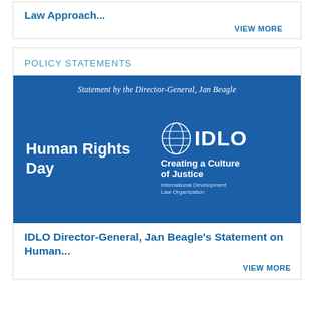Law Approach...
VIEW MORE
POLICY STATEMENTS
[Figure (illustration): Blue banner image for IDLO Human Rights Day policy statement. Text reads 'Statement by the Director-General, Jan Beagle' at top. Left side shows 'Human Rights Day' in large white bold text. Right side shows IDLO globe logo with text 'IDLO Creating a Culture of Justice International Development Law Organization' in white.]
IDLO Director-General, Jan Beagle's Statement on Human...
VIEW MORE